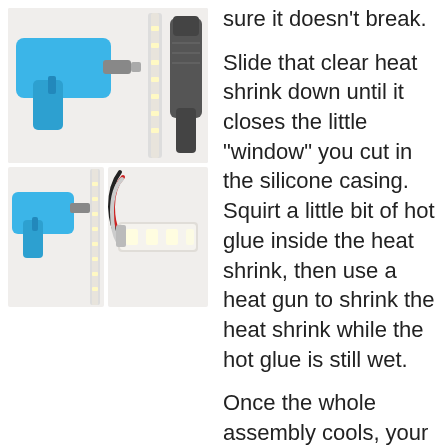[Figure (photo): Top image showing a blue hot glue gun with a clear LED strip and a heat gun tool on a white background]
[Figure (photo): Bottom left image showing a blue hot glue gun next to an LED strip on a white background]
[Figure (photo): Bottom right image showing wires (red, black, white) connected to an LED strip with clear heat shrink]
sure it doesn't break.

Slide that clear heat shrink down until it closes the little "window" you cut in the silicone casing. Squirt a little bit of hot glue inside the heat shrink, then use a heat gun to shrink the heat shrink while the hot glue is still wet.

Once the whole assembly cools, your shiny new solder joints will be fully encased in